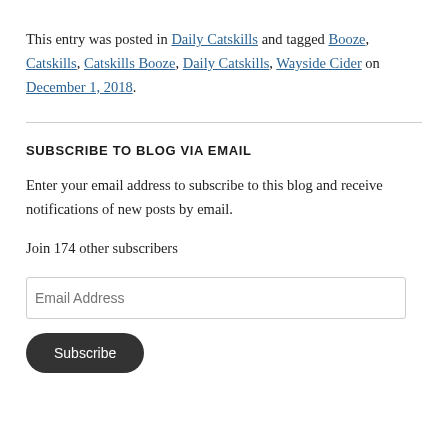This entry was posted in Daily Catskills and tagged Booze, Catskills, Catskills Booze, Daily Catskills, Wayside Cider on December 1, 2018.
SUBSCRIBE TO BLOG VIA EMAIL
Enter your email address to subscribe to this blog and receive notifications of new posts by email.
Join 174 other subscribers